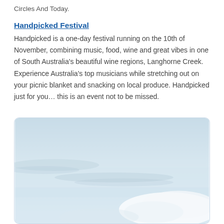Circles And Today.
Handpicked Festival
Handpicked is a one-day festival running on the 10th of November, combining music, food, wine and great vibes in one of South Australia's beautiful wine regions, Langhorne Creek. Experience Australia's top musicians while stretching out on your picnic blanket and snacking on local produce. Handpicked just for you… this is an event not to be missed.
[Figure (photo): Sky photo with light blue tones and some clouds, displayed in a rounded rectangle container.]